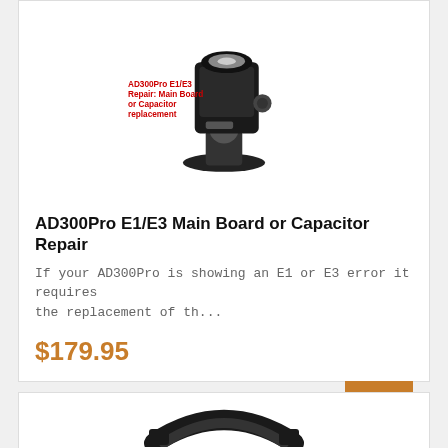[Figure (photo): AD300Pro flash unit mounted on a ball head stand, with a red text overlay reading 'AD300Pro E1/E3 Repair: Main Board or Capacitor replacement']
AD300Pro E1/E3 Main Board or Capacitor Repair
If your AD300Pro is showing an E1 or E3 error it requires the replacement of th...
$179.95
Details
[Figure (photo): Black circular ring-shaped accessory or mount adapter for a flash unit, partially visible at the bottom of the page]